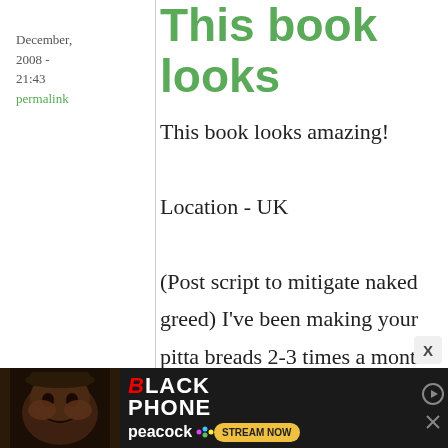December, 2008 - 21:43
permalink
This book looks
This book looks amazing!

Location - UK

(Post script to mitigate naked greed) I've been making your pitta breads 2-3 times a month since you posted the recipe
[Figure (photo): Advertisement banner for 'The Black Phone' on Peacock streaming service, showing a dark figure with text 'BLACK PHONE' and 'peacock STREAM NOW' button]